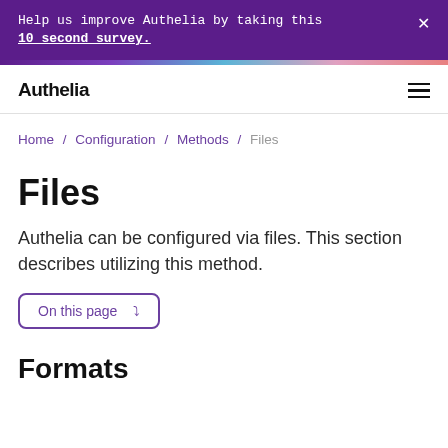Help us improve Authelia by taking this 10 second survey.
Authelia
Home / Configuration / Methods / Files
Files
Authelia can be configured via files. This section describes utilizing this method.
On this page
Formats